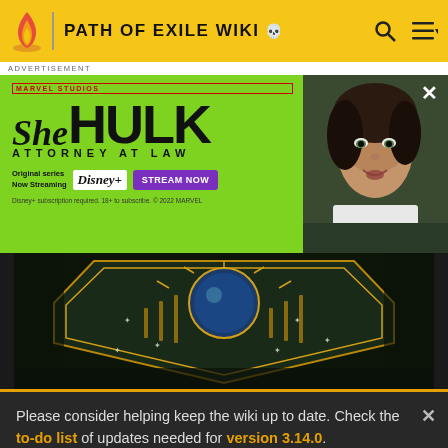PATH OF EXILE WIKI
[Figure (screenshot): She-Hulk Attorney at Law Marvel Studios advertisement with green background, actress photo on right, Disney+ streaming info and STREAM NOW button]
[Figure (photo): Close-up of ornate shield or armor with gold and dark teal details, stars pattern, fantasy game art]
Please consider helping keep the wiki up to date. Check the to-do list of updates needed for version 3.14.0. Game data exports will becoming later as the technical changes in addition to regular changes take some more time.